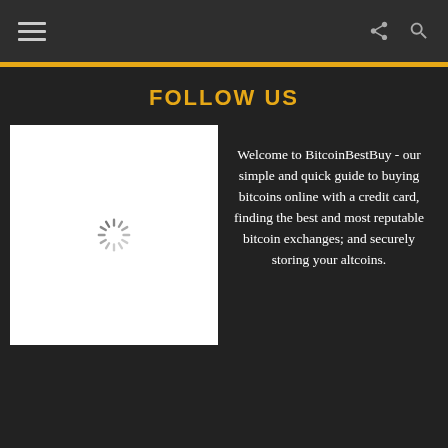FOLLOW US
[Figure (screenshot): White image placeholder with a loading spinner (circular dashes) in the center]
Welcome to BitcoinBestBuy - our simple and quick guide to buying bitcoins online with a credit card, finding the best and most reputable bitcoin exchanges; and securely storing your altcoins.